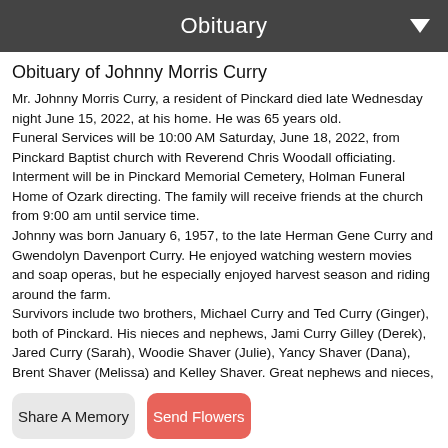Obituary
Obituary of Johnny Morris Curry
Mr. Johnny Morris Curry, a resident of Pinckard died late Wednesday night June 15, 2022, at his home. He was 65 years old.
Funeral Services will be 10:00 AM Saturday, June 18, 2022, from Pinckard Baptist church with Reverend Chris Woodall officiating. Interment will be in Pinckard Memorial Cemetery, Holman Funeral Home of Ozark directing. The family will receive friends at the church from 9:00 am until service time.
Johnny was born January 6, 1957, to the late Herman Gene Curry and Gwendolyn Davenport Curry. He enjoyed watching western movies and soap operas, but he especially enjoyed harvest season and riding around the farm.
Survivors include two brothers, Michael Curry and Ted Curry (Ginger), both of Pinckard. His nieces and nephews, Jami Curry Gilley (Derek), Jared Curry (Sarah), Woodie Shaver (Julie), Yancy Shaver (Dana), Brent Shaver (Melissa) and Kelley Shaver. Great nephews and nieces, Holden, Laken, Eli, Lukas, William, John Wesley, Stephen, Shauna, Midian, Bailey, Maddie, Joley, Aiden and Bryce.
Share A Memory
Send Flowers